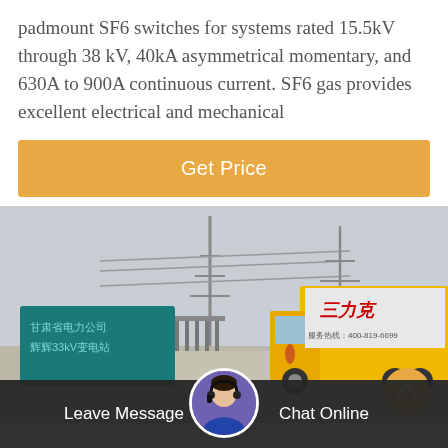padmount SF6 switches for systems rated 15.5kV through 38 kV, 40kA asymmetrical momentary, and 630A to 900A continuous current. SF6 gas provides excellent electrical and mechanical
[Figure (other): Orange 'Get Price' button]
[Figure (photo): Outdoor electrical substation in China with a yellow utility truck parked near a teal sign with Chinese characters, power lines and towers in background]
[Figure (other): Bottom navigation bar with 'Leave Message' on left, customer service representative avatar in center, and 'Chat Online' on right, on dark background]